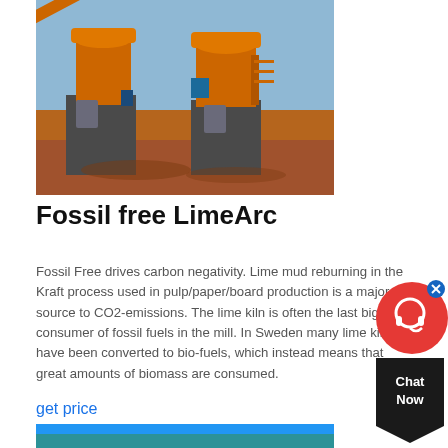[Figure (photo): Industrial lime kiln / mineral processing equipment in orange, photographed on red dirt ground with blue sky background]
Fossil free LimeArc
Fossil Free drives carbon negativity. Lime mud reburning in the Kraft process used in pulp/paper/board production is a major source to CO2-emissions. The lime kiln is often the last big consumer of fossil fuels in the mill. In Sweden many lime kilns have been converted to bio-fuels, which instead means that great amounts of biomass are consumed.
get price
[Figure (photo): Partial view of another industrial/outdoor scene with blue sky, bottom of page]